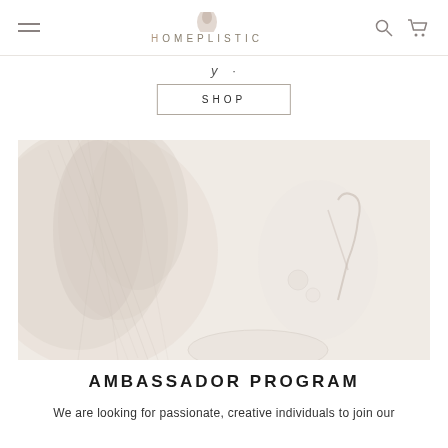HOMEPLISTIC navigation bar with hamburger menu, logo, search and cart icons
SHOP
[Figure (photo): Flat lay photo of pampas grass and home decor items on a white marble surface, very light beige and cream tones]
AMBASSADOR PROGRAM
We are looking for passionate, creative individuals to join our